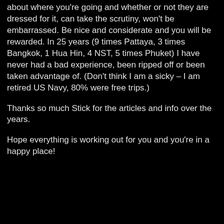about where you're going and whether or not they are dressed for it, can take the scrutiny, won't be embarrassed. Be nice and considerate and you will be rewarded. In 25 years (9 times Pattaya, 3 times Bangkok, 1 Hua Hin, 4 NST, 5 times Phuket) I have never had a bad experience, been ripped off or been taken advantage of. (Don't think I am a sicky – I am retired US Navy, 80% were free trips.)
Thanks so much Stick for the articles and info over the years.
Hope everything is working out for you and you're in a happy place!